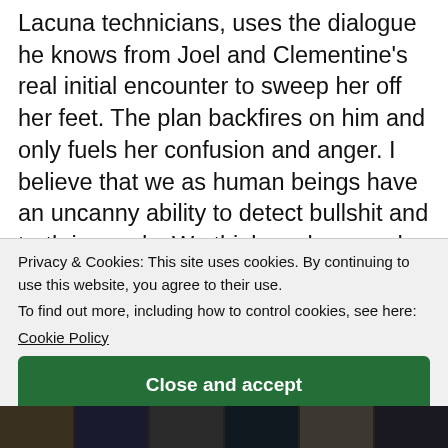Lacuna technicians, uses the dialogue he knows from Joel and Clementine's real initial encounter to sweep her off her feet. The plan backfires on him and only fuels her confusion and anger. I believe that we as human beings have an uncanny ability to detect bullshit and truth in words. We think spoken words is the only way of communicating but there's an invisible energy that comes from body language, the way we say things, and the way we look at a person that tells us if
there's any truth in what is being communicated. This energy is something beyond what we hear or see, it's something... feeling of truth...
Privacy & Cookies: This site uses cookies. By continuing to use this website, you agree to their use.
To find out more, including how to control cookies, see here: Cookie Policy
Close and accept
[Figure (photo): Dark photo strip at the bottom of the page showing multiple small images]